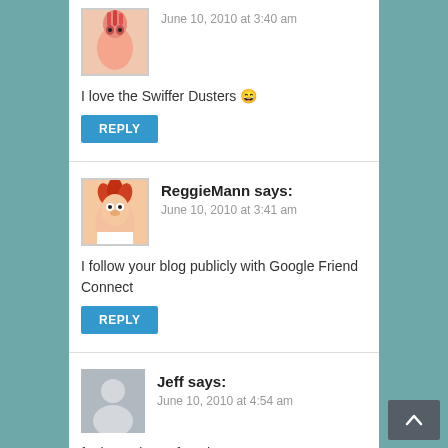[Figure (photo): Avatar image of a Muppet character (pink bird/flamingo head) partially visible at top]
June 10, 2010 at 3:40 am
I love the Swiffer Dusters 😄
REPLY
[Figure (photo): Avatar image of Beaker from the Muppets with red hair]
ReggieMann says:
June 10, 2010 at 3:41 am
I follow your blog publicly with Google Friend Connect
REPLY
[Figure (photo): Generic grey silhouette avatar for Jeff]
Jeff says:
June 10, 2010 at 4:54 am
feebreze is my favorite.